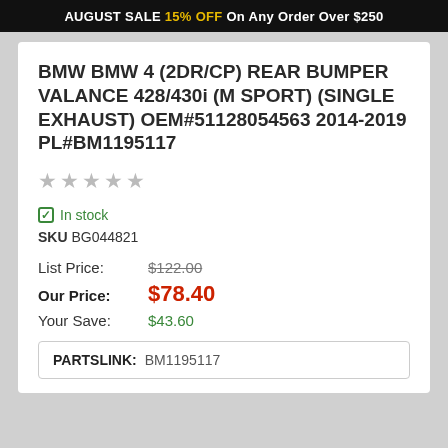AUGUST SALE 15% OFF On Any Order Over $250
BMW BMW 4 (2DR/CP) REAR BUMPER VALANCE 428/430i (M SPORT) (SINGLE EXHAUST) OEM#51128054563 2014-2019 PL#BM1195117
★★★★★ (star rating)
In stock
SKU BG044821
List Price: $122.00
Our Price: $78.40
Your Save: $43.60
| PARTSLINK: |  |
| --- | --- |
| PARTSLINK: | BM1195117 |